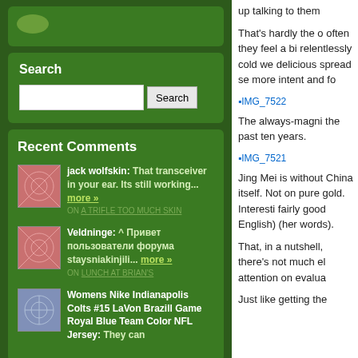[Figure (illustration): Green oval/leaf logo image placeholder in dark green sidebar widget area]
Search
Search input box and Search button
Recent Comments
jack wolfskin: That transceiver in your ear. Its still working... more » ON A TRIFLE TOO MUCH SKIN
Veldninge: ^ Привет пользователи форума staysniakinjili... more » ON LUNCH AT BRIAN'S
Womens Nike Indianapolis Colts #15 LaVon Brazill Game Royal Blue Team Color NFL Jersey: They can
up talking to them
That's hardly the o often they feel a bi relentlessly cold we delicious spread se more intent and fo
[Figure (illustration): IMG_7522 image placeholder link]
The always-magni the past ten years.
[Figure (illustration): IMG_7521 image placeholder link]
Jing Mei is without China itself. Not on pure gold. Interesti fairly good English) (her words).
That, in a nutshell, there's not much el attention on evalua
Just like getting the